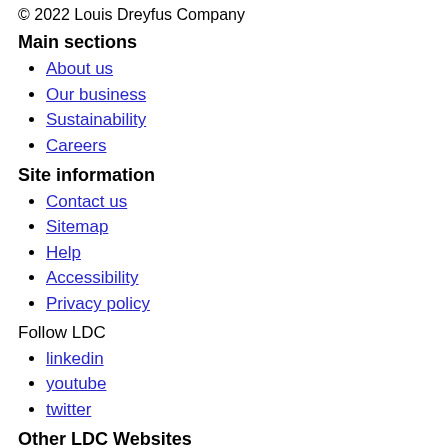© 2022 Louis Dreyfus Company
Main sections
About us
Our business
Sustainability
Careers
Site information
Contact us
Sitemap
Help
Accessibility
Privacy policy
Follow LDC
linkedin
youtube
twitter
Other LDC Websites
www.ldc.com